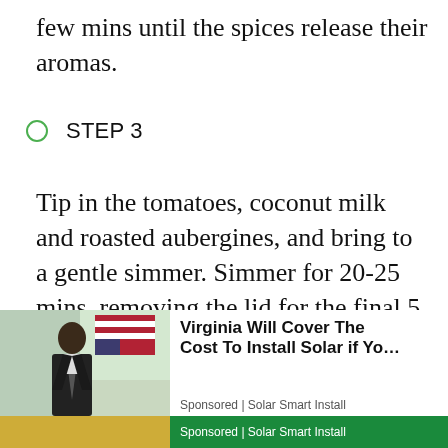few mins until the spices release their aromas.
STEP 3
Tip in the tomatoes, coconut milk and roasted aubergines, and bring to a gentle simmer. Simmer for 20-25 mins, removing the lid for the final 5 mins to thicken the sauce. Add a little seasoning if you like, and a pinch of sugar if it needs it. Stir through most of the coriander. Serve over rice or with chapatis, scattering with the remaining coriander.
[Figure (infographic): Advertisement overlay: photo of a man in a suit next to text 'Virginia Will Cover The Cost To Install Solar if Yo...' Sponsored by Solar Smart Install, with a green footer bar.]